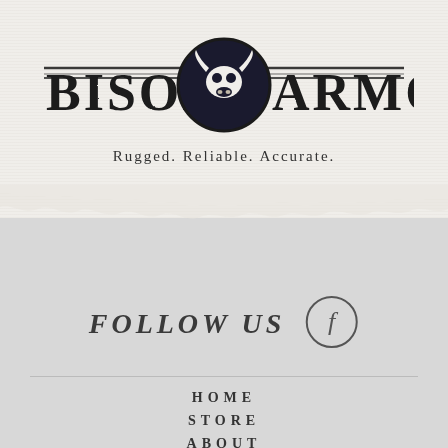[Figure (logo): Bison Armory logo with bison skull in circle, decorative horizontal lines on each side of brand name, distressed typography style]
Rugged. Reliable. Accurate.
FOLLOW US
[Figure (logo): Facebook circular icon with letter f]
HOME
STORE
ABOUT